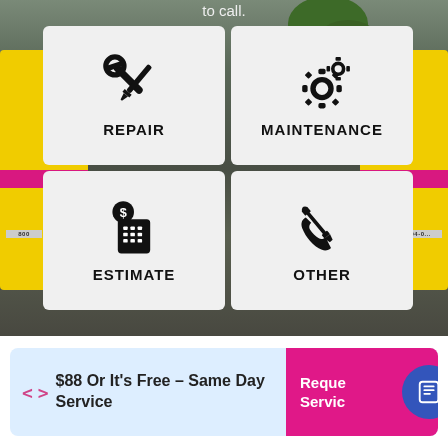to call.
[Figure (illustration): Service menu UI with four cards: Repair, Maintenance, Estimate, Other, shown over a photo of yellow service trucks]
$88 Or It's Free – Same Day Service
Request Service